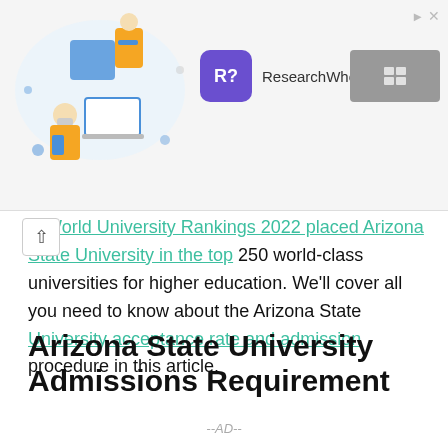[Figure (illustration): Advertisement banner with illustration of students studying, a purple R? logo for ResearchWho? and a grey button]
World University Rankings 2022 placed Arizona State University in the top 250 world-class universities for higher education. We'll cover all you need to know about the Arizona State University acceptance rate and admission procedure in this article.
Arizona State University Admissions Requirement
Now that you know about the ASU acceptance rate, I will work with you through the admission process and requirements.
--AD--